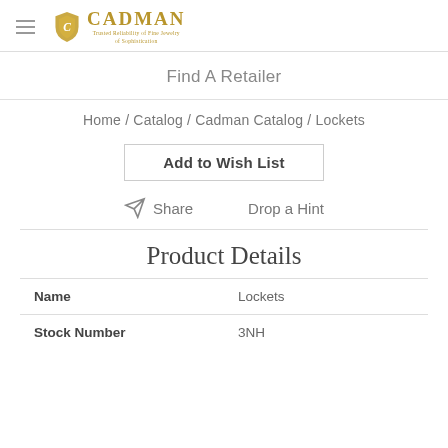Cadman
Find A Retailer
Home / Catalog / Cadman Catalog / Lockets
Add to Wish List
Share   Drop a Hint
Product Details
| Name | Stock Number |
| --- | --- |
| Lockets | 3NH |